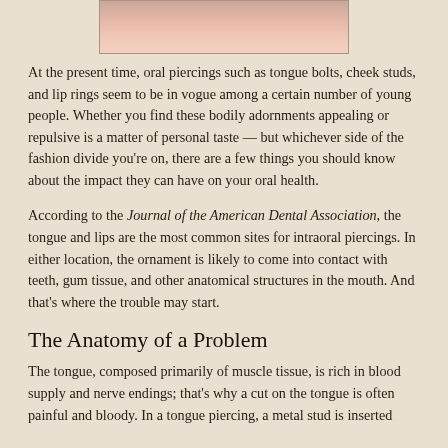[Figure (photo): Partial photo showing a person's lower face/chin area, cropped at top of page]
At the present time, oral piercings such as tongue bolts, cheek studs, and lip rings seem to be in vogue among a certain number of young people. Whether you find these bodily adornments appealing or repulsive is a matter of personal taste — but whichever side of the fashion divide you're on, there are a few things you should know about the impact they can have on your oral health.
According to the Journal of the American Dental Association, the tongue and lips are the most common sites for intraoral piercings. In either location, the ornament is likely to come into contact with teeth, gum tissue, and other anatomical structures in the mouth. And that's where the trouble may start.
The Anatomy of a Problem
The tongue, composed primarily of muscle tissue, is rich in blood supply and nerve endings; that's why a cut on the tongue is often painful and bloody. In a tongue piercing, a metal stud is inserted